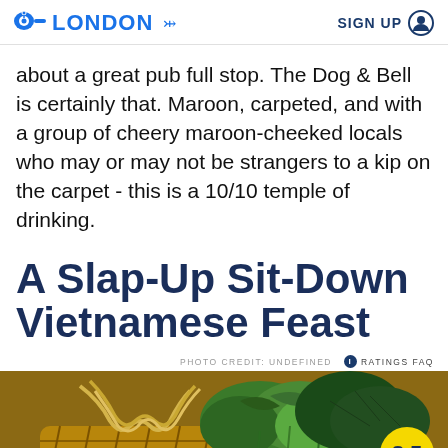LONDON   SIGN UP
about a great pub full stop. The Dog & Bell is certainly that. Maroon, carpeted, and with a group of cheery maroon-cheeked locals who may or may not be strangers to a kip on the carpet - this is a 10/10 temple of drinking.
A Slap-Up Sit-Down Vietnamese Feast
PHOTO CREDIT: UNDEFINED   ● RATINGS FAQ
[Figure (photo): Photo of Vietnamese food ingredients including noodles and fresh herbs in a basket, with a yellow rating badge showing 8.5]